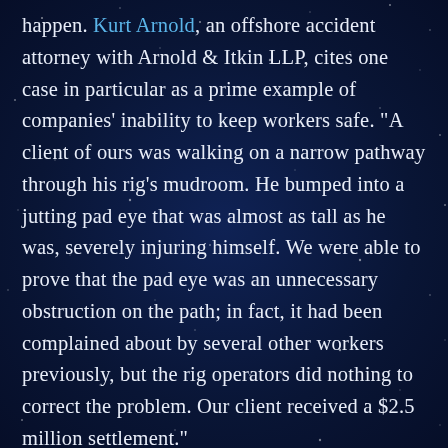happen. Kurt Arnold, an offshore accident attorney with Arnold & Itkin LLP, cites one case in particular as a prime example of companies' inability to keep workers safe. "A client of ours was walking on a narrow pathway through his rig's mudroom. He bumped into a jutting pad eye that was almost as tall as he was, severely injuring himself. We were able to prove that the pad eye was an unnecessary obstruction on the path; in fact, it had been complained about by several other workers previously, but the rig operators did nothing to correct the problem. Our client received a $2.5 million settlement."
Another simple step offshore companies can take to